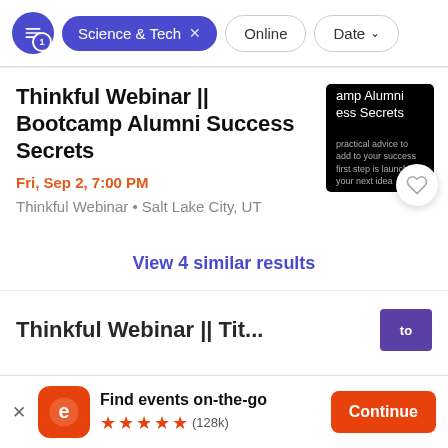Science & Tech × Online Date
Thinkful Webinar || Bootcamp Alumni Success Secrets
Fri, Sep 2, 7:00 PM
Thinkful Webinar • Salt Lake City, UT
[Figure (screenshot): Black thumbnail image with white text reading 'amp Alumni ess Secrets' and small yellow text below]
View 4 similar results
Find events on-the-go
★★★★★ (128k)
Continue